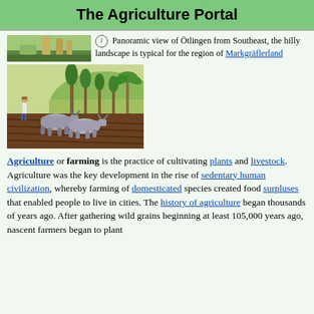The Agriculture Portal
[Figure (photo): Thumbnail photo: panoramic view of Ötlingen from Southeast, hilly landscape]
Panoramic view of Ötlingen from Southeast, the hilly landscape is typical for the region of Markgräflerland
[Figure (photo): Photo of a farmer plowing a field with two water buffalo in a tropical landscape with palm trees]
Agriculture or farming is the practice of cultivating plants and livestock. Agriculture was the key development in the rise of sedentary human civilization, whereby farming of domesticated species created food surpluses that enabled people to live in cities. The history of agriculture began thousands of years ago. After gathering wild grains beginning at least 105,000 years ago, nascent farmers began to plant